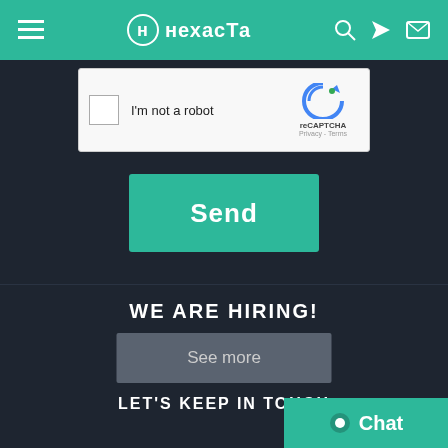нехаста
[Figure (screenshot): reCAPTCHA checkbox widget with 'I'm not a robot' text and reCAPTCHA logo with Privacy and Terms links]
Send
WE ARE HIRING!
See more
LET'S KEEP IN TOUCH
[Figure (screenshot): Social media icons: Facebook, Twitter, YouTube, Instagram, and partial icon]
[Figure (screenshot): Chat widget button with circle dot and 'Chat' text on teal background]